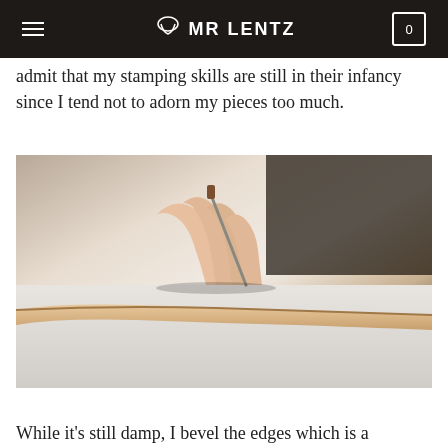MR LENTZ
admit that my stamping skills are still in their infancy since I tend not to adorn my pieces too much.
[Figure (photo): Close-up photograph of hands using a leather working tool (awl or stitching chisel) on a piece of tan/natural leather placed on a flat surface, with dark background]
While it's still damp, I bevel the edges which is a